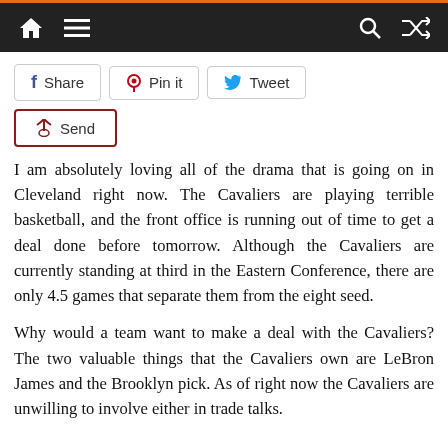Navigation bar with home, menu, search, and shuffle icons
[Figure (screenshot): Social share buttons: Share (Facebook), Pin it (Pinterest), Tweet (Twitter), Send (Bluetooth)]
I am absolutely loving all of the drama that is going on in Cleveland right now. The Cavaliers are playing terrible basketball, and the front office is running out of time to get a deal done before tomorrow. Although the Cavaliers are currently standing at third in the Eastern Conference, there are only 4.5 games that separate them from the eight seed.
Why would a team want to make a deal with the Cavaliers? The two valuable things that the Cavaliers own are LeBron James and the Brooklyn pick. As of right now the Cavaliers are unwilling to involve either in trade talks.